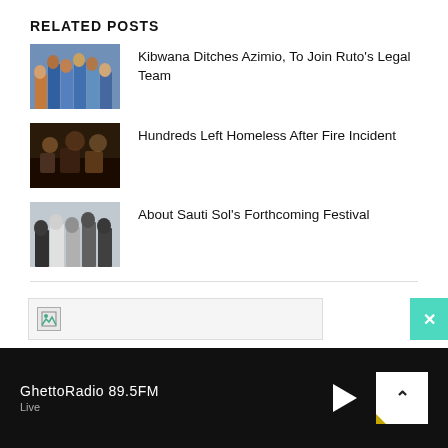RELATED POSTS
[Figure (photo): Group of people standing together in formal attire]
Kibwana Ditches Azimio, To Join Ruto's Legal Team
[Figure (photo): Fire incident scene with debris]
Hundreds Left Homeless After Fire Incident
[Figure (photo): Group of musicians (Sauti Sol) standing together]
About Sauti Sol's Forthcoming Festival
[Figure (screenshot): Advertisement banner with broken image icon]
GhettoRadio 89.5FM
Live